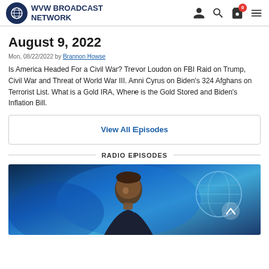WVW BROADCAST NETWORK
August 9, 2022
Mon, 08/22/2022 by Brannon Howse
Is America Headed For a Civil War? Trevor Loudon on FBI Raid on Trump, Civil War and Threat of World War III. Anni Cyrus on Biden's 324 Afghans on Terrorist List. What is a Gold IRA, Where is the Gold Stored and Biden's Inflation Bill.
View All Episodes
RADIO EPISODES
[Figure (photo): Photo of a man (Brannon Howse) in front of a blue broadcast background with globe imagery]